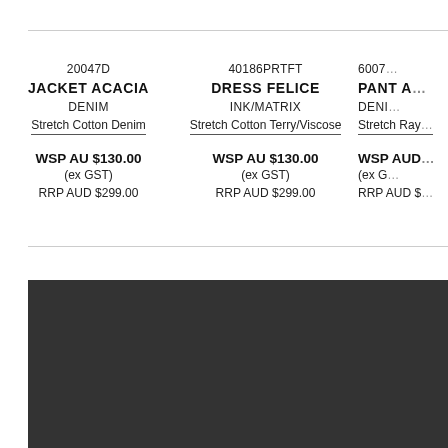| Product Code | Product Name | Color | Fabric | WSP | ex GST | RRP |
| --- | --- | --- | --- | --- | --- | --- |
| 20047D | JACKET ACACIA | DENIM | Stretch Cotton Denim | WSP AU $130.00 | (ex GST) | RRP AUD $299.00 |
| 40186PRTFT | DRESS FELICE | INK/MATRIX | Stretch Cotton Terry/Viscose | WSP AU $130.00 | (ex GST) | RRP AUD $299.00 |
| 60071… | PANT A… | DENI… | Stretch Ray… | WSP AUD… | (ex G… | RRP AUD $… |
[Figure (photo): Dark grey/charcoal rectangle filling the lower portion of the page, partially visible, appears to be a clothing product image on dark background.]